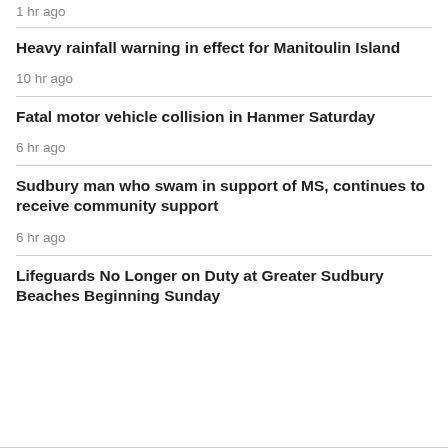1 hr ago
Heavy rainfall warning in effect for Manitoulin Island
10 hr ago
Fatal motor vehicle collision in Hanmer Saturday
6 hr ago
Sudbury man who swam in support of MS, continues to receive community support
6 hr ago
Lifeguards No Longer on Duty at Greater Sudbury Beaches Beginning Sunday